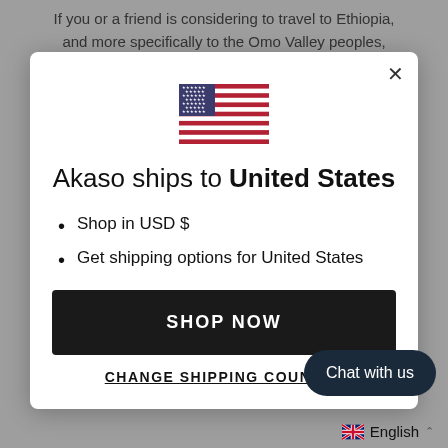If you or a friend is considering to travel to Ethiopia, and more specifically to the Omo Valley peoples, please consider to be hosted at the Wild Expeditions
[Figure (illustration): US flag emoji / icon — red and white stripes with blue canton and white stars]
Akaso ships to United States
Shop in USD $
Get shipping options for United States
SHOP NOW
CHANGE SHIPPING COUNTRY
Chat with us
English